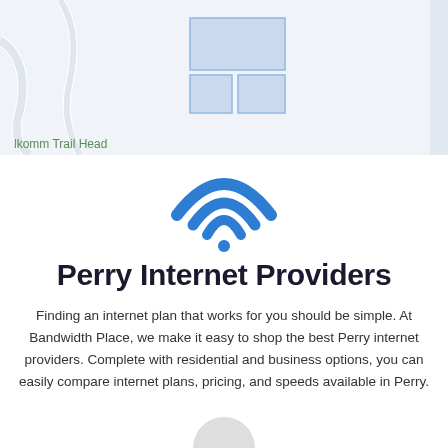[Figure (map): Partial map view showing road paths and blue building outlines near 'lkomm Trail Head' label, with a light gray sidebar on the right]
[Figure (illustration): Blue WiFi icon with three arcs and a dot at the bottom]
Perry Internet Providers
Finding an internet plan that works for you should be simple. At Bandwidth Place, we make it easy to shop the best Perry internet providers. Complete with residential and business options, you can easily compare internet plans, pricing, and speeds available in Perry.